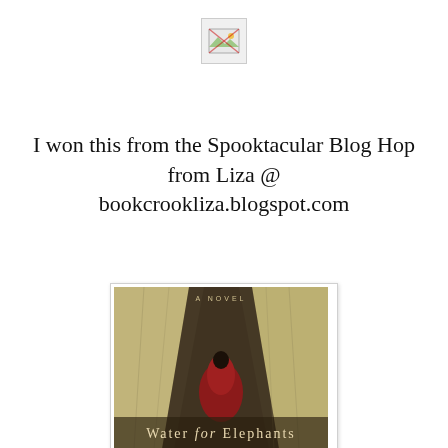[Figure (photo): Broken/missing image icon placeholder — small image with landscape icon]
I won this from the Spooktacular Blog Hop from Liza @ bookcrookliza.blogspot.com
[Figure (photo): Book cover of 'Water for Elephants' — showing a figure peeking through draped tent curtains, dark moody tones with red fabric visible, title text at bottom reads 'Water for Elephants']